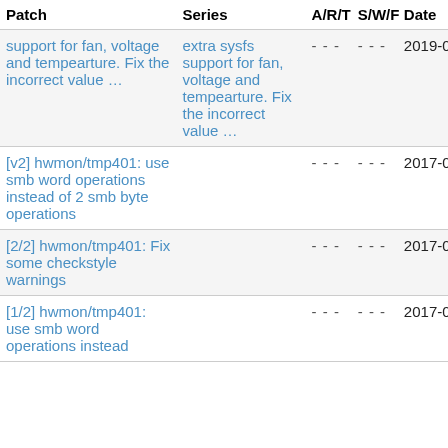| Patch | Series | A/R/T | S/W/F | Date |
| --- | --- | --- | --- | --- |
| support for fan, voltage and tempearture. Fix the incorrect value ... | extra sysfs support for fan, voltage and tempearture. Fix the incorrect value ... | - - - | - - - | 2019-05-30 |
| [v2] hwmon/tmp401: use smb word operations instead of 2 smb byte operations |  | - - - | - - - | 2017-01-09 |
| [2/2] hwmon/tmp401: Fix some checkstyle warnings |  | - - - | - - - | 2017-01-09 |
| [1/2] hwmon/tmp401: use smb word operations instead |  | - - - | - - - | 2017-01-09 |